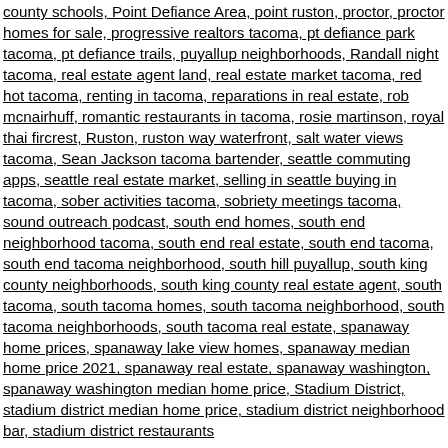county schools, Point Defiance Area, point ruston, proctor, proctor homes for sale, progressive realtors tacoma, pt defiance park tacoma, pt defiance trails, puyallup neighborhoods, Randall night tacoma, real estate agent land, real estate market tacoma, red hot tacoma, renting in tacoma, reparations in real estate, rob mcnairhuff, romantic restaurants in tacoma, rosie martinson, royal thai fircrest, Ruston, ruston way waterfront, salt water views tacoma, Sean Jackson tacoma bartender, seattle commuting apps, seattle real estate market, selling in seattle buying in tacoma, sober activities tacoma, sobriety meetings tacoma, sound outreach podcast, south end homes, south end neighborhood tacoma, south end real estate, south end tacoma, south end tacoma neighborhood, south hill puyallup, south king county neighborhoods, south king county real estate agent, south tacoma, south tacoma homes, south tacoma neighborhood, south tacoma neighborhoods, south tacoma real estate, spanaway home prices, spanaway lake view homes, spanaway median home price 2021, spanaway real estate, spanaway washington, spanaway washington median home price, Stadium District, stadium district median home price, stadium district neighborhood bar, stadium district restaurants